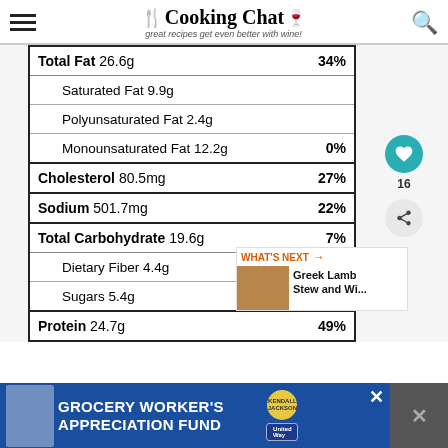Cooking Chat — great recipes get even better with wine!
| Nutrient | Amount | % Daily Value |
| --- | --- | --- |
| Total Fat | 26.6g | 34% |
| Saturated Fat | 9.9g |  |
| Polyunsaturated Fat | 2.4g |  |
| Monounsaturated Fat | 12.2g | 0% |
| Cholesterol | 80.5mg | 27% |
| Sodium | 501.7mg | 22% |
| Total Carbohydrate | 19.6g | 7% |
| Dietary Fiber | 4.4g | 16% |
| Sugars | 5.4g |  |
| Protein | 24.7g | 49% |
[Figure (infographic): GROCERY WORKER'S APPRECIATION FUND advertisement banner with Kendall-Jackson and United Way logos]
[Figure (infographic): What's Next panel showing Greek Lamb Stew and Wi... recommendation]